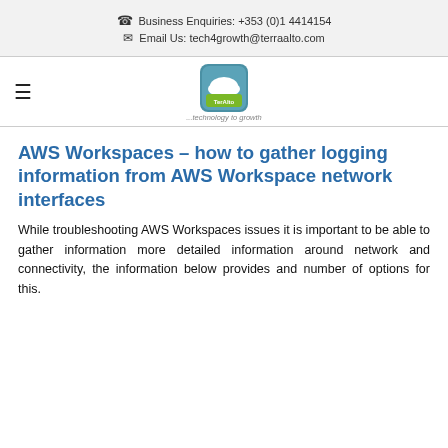Business Enquiries: +353 (0)1 4414154
Email Us: tech4growth@terraalto.com
[Figure (logo): TerraAlto logo with cloud icon and tagline '...technology to growth']
AWS Workspaces – how to gather logging information from AWS Workspace network interfaces
While troubleshooting AWS Workspaces issues it is important to be able to gather information more detailed information around network and connectivity, the information below provides and number of options for this.